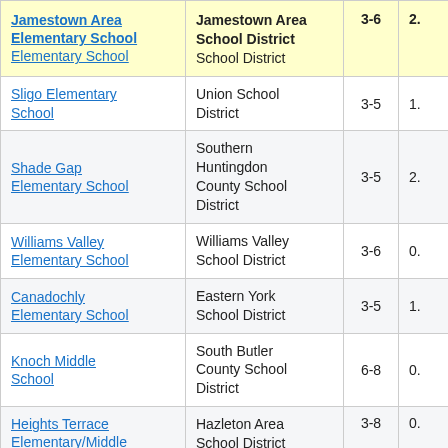| School | District | Grades |  |
| --- | --- | --- | --- |
| Jamestown Area Elementary School | Jamestown Area School District / School District | 3-6 | 2. |
| Elementary School |  |  |  |
| Sligo Elementary School | Union School District | 3-5 | 1. |
| Shade Gap Elementary School | Southern Huntingdon County School District | 3-5 | 2. |
| Williams Valley Elementary School | Williams Valley School District | 3-6 | 0. |
| Canadochly Elementary School | Eastern York School District | 3-5 | 1. |
| Knoch Middle School | South Butler County School District | 6-8 | 0. |
| Heights Terrace Elementary/Middle | Hazleton Area School District | 3-8 | 0. |